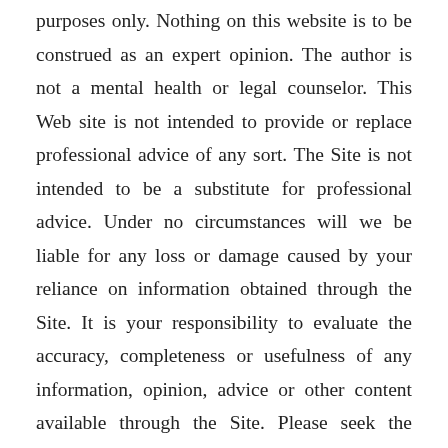purposes only. Nothing on this website is to be construed as an expert opinion. The author is not a mental health or legal counselor. This Web site is not intended to provide or replace professional advice of any sort. The Site is not intended to be a substitute for professional advice. Under no circumstances will we be liable for any loss or damage caused by your reliance on information obtained through the Site. It is your responsibility to evaluate the accuracy, completeness or usefulness of any information, opinion, advice or other content available through the Site. Please seek the advice of professionals, as appropriate, regarding the evaluation of any specific information, opinion, advice or other content. [scroll button] er disregard professional advice, including medical